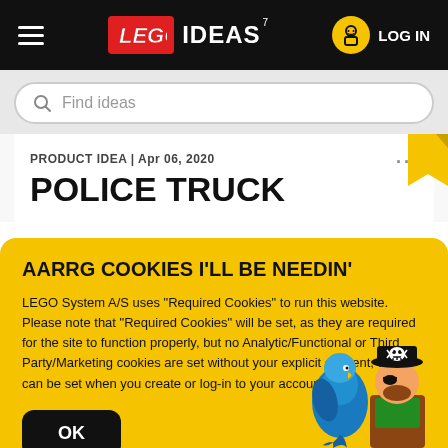LEGO IDEAS — LOG IN
Find ideas
PRODUCT IDEA | Apr 06, 2020
POLICE TRUCK
AARRG COOKIES I'LL BE NEEDIN'
LEGO System A/S uses "Required Cookies" to run this website. Please note that "Required Cookies" will be set, as they are required for the site to function properly, but no Analytic/Functional or Third Party/Marketing cookies are set without your explicit consent, which can be set when you create or log-in to your account.
OK
[Figure (illustration): LEGO pirate minifigure with skull-and-crossbones hat and a blue parrot]